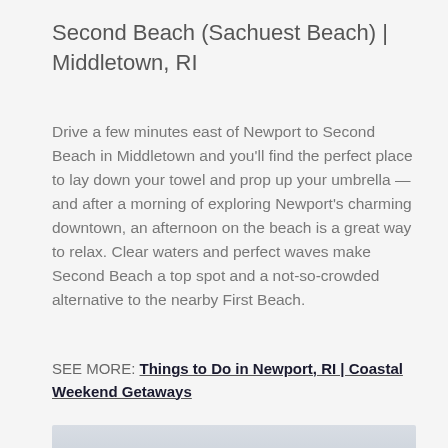Second Beach (Sachuest Beach) | Middletown, RI
Drive a few minutes east of Newport to Second Beach in Middletown and you'll find the perfect place to lay down your towel and prop up your umbrella — and after a morning of exploring Newport's charming downtown, an afternoon on the beach is a great way to relax. Clear waters and perfect waves make Second Beach a top spot and a not-so-crowded alternative to the nearby First Beach.
SEE MORE: Things to Do in Newport, RI | Coastal Weekend Getaways
[Figure (photo): Partial view of a beach scene with sky and waves, appears light grey/blue toned]